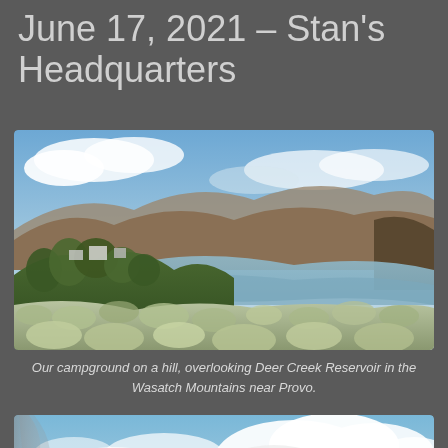June 17, 2021 – Stan's Headquarters
[Figure (photo): Landscape photo showing a campground on a hill overlooking Deer Creek Reservoir with green shrubs and sagebrush in the foreground, calm blue-grey water in the middle, and brown mountains under a partly cloudy blue sky in the background.]
Our campground on a hill, overlooking Deer Creek Reservoir in the Wasatch Mountains near Provo.
[Figure (photo): Landscape photo showing a dramatic blue sky with large white cumulus clouds, a dark hillside at the bottom, and possibly a wildfire smoke column on the left.]